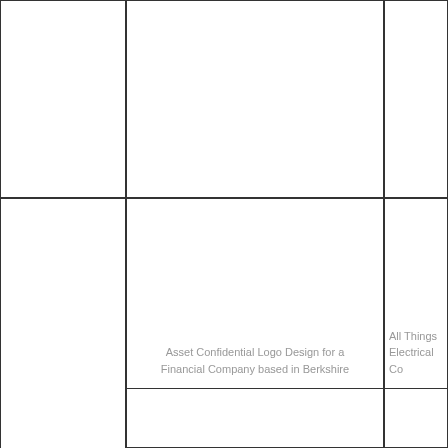[Figure (logo): Top-left partial cell, cropped at left edge, empty content area]
[Figure (logo): Top-center cell with partial text at top, empty content area]
[Figure (logo): Top-right partial cell, cropped at right edge]
[Figure (logo): Middle-left partial cell, cropped at left edge, empty content area]
[Figure (logo): Middle-center cell with logo design area and caption: Asset Confidential Logo Design for a Financial Company based in Berkshire]
Asset Confidential Logo Design for a Financial Company based in Berkshire
[Figure (logo): Middle-right partial cell cropped at right edge with partial caption: All Things Electrical Co...]
All Things Electrical Co...
[Figure (logo): Bottom-left partial cell, cropped at left edge]
[Figure (logo): Bottom-center cell, empty content area]
[Figure (logo): Bottom-right partial cell, cropped at right edge]